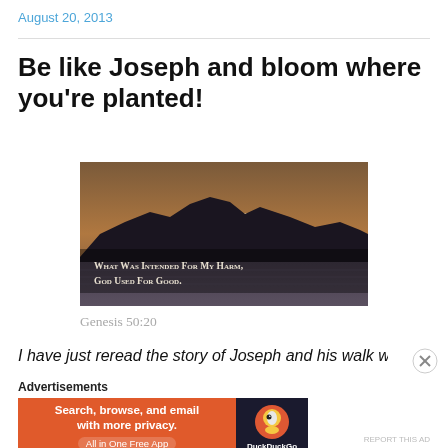August 20, 2013
Be like Joseph and bloom where you’re planted!
[Figure (photo): Sunset over mountains and water with overlaid text: 'What Was Intended For My Harm, God Used For Good.']
Genesis 50:20
I have just reread the story of Joseph and his walk with
Advertisements
[Figure (screenshot): DuckDuckGo advertisement banner: 'Search, browse, and email with more privacy. All in One Free App' with DuckDuckGo logo on dark background.]